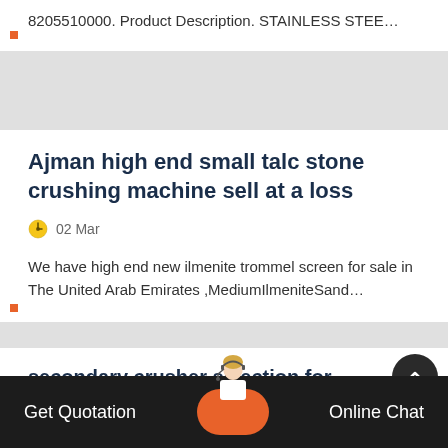8205510000. Product Description. STAINLESS STEE…
Ajman high end small talc stone crushing machine sell at a loss
02 Mar
We have high end new ilmenite trommel screen for sale in The United Arab Emirates ,MediumIlmeniteSand…
secondary crusher selection for aggregates
23 Mar
Get Quotation
Online Chat